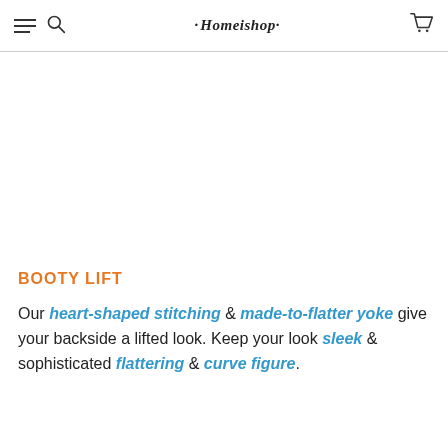Homeishop — navigation header with hamburger menu, search, logo, and cart icon
BOOTY LIFT
Our heart-shaped stitching & made-to-flatter yoke give your backside a lifted look. Keep your look sleek & sophisticated flattering & curve figure.